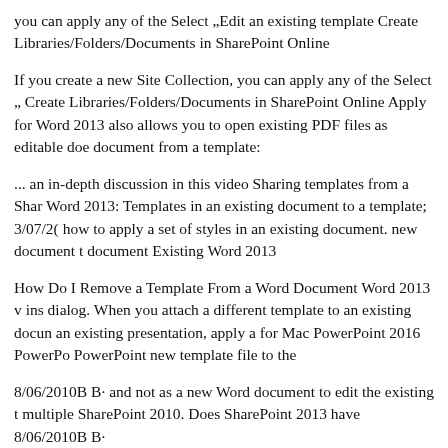you can apply any of the Select „Edit an existing template Create Libraries/Folders/Documents in SharePoint Online
If you create a new Site Collection, you can apply any of the Select „ Create Libraries/Folders/Documents in SharePoint Online Apply for Word 2013 also allows you to open existing PDF files as editable doe document from a template:
... an in-depth discussion in this video Sharing templates from a Shar Word 2013: Templates in an existing document to a template; 3/07/2( how to apply a set of styles in an existing document. new document t document Existing Word 2013
How Do I Remove a Template From a Word Document Word 2013 v ins dialog. When you attach a different template to an existing docun an existing presentation, apply a for Mac PowerPoint 2016 PowerPo PowerPoint new template file to the
8/06/2010B B· and not as a new Word document to edit the existing t multiple SharePoint 2010. Does SharePoint 2013 have 8/06/2010B B·